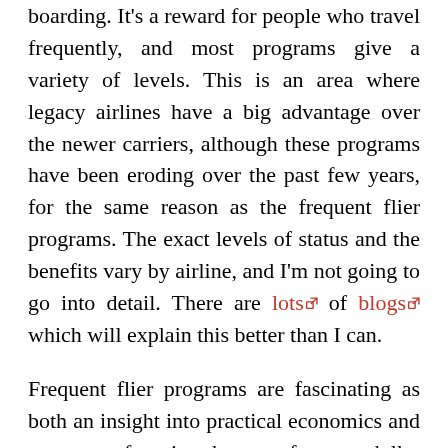boarding. It's a reward for people who travel frequently, and most programs give a variety of levels. This is an area where legacy airlines have a big advantage over the newer carriers, although these programs have been eroding over the past few years, for the same reason as the frequent flier programs. The exact levels of status and the benefits vary by airline, and I'm not going to go into detail. There are lots of blogs which will explain this better than I can.
Frequent flier programs are fascinating as both an insight into practical economics and as a way of getting the most for your dollar when dealing with airlines. If you're interested in flying in international business class (something everyone